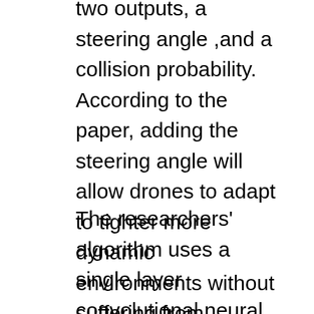two outputs, a steering angle ,and a collision probability. According to the paper, adding the steering angle will allow drones to adapt to tighter more dynamic environments without suffering from stimulation overload, a concern with current systems.
The researchers' algorithm uses a single layer convolutional neural network which they have dubbed DroNet. The outputs from the steering angle and collision probability are then used to control the drone. The improved response